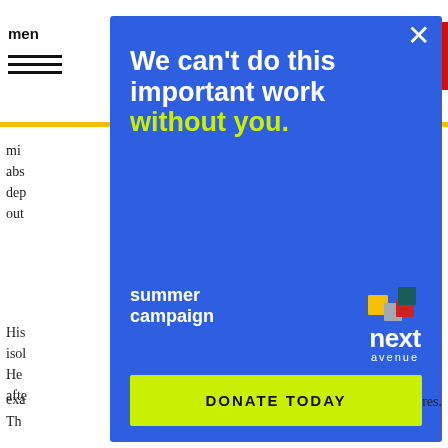[Figure (screenshot): Website article page as background, partially obscured by a fundraising modal overlay. The background shows a navigation bar with 'menu' text and hamburger icon, a yellow bar, and article text fragments on the left and right sides.]
[Figure (infographic): Fundraising modal overlay on blue background with headline 'We can't do this important work without you.' in white and green, 'summer campaign' text, Next Avenue logo with colorful squares, and a yellow-green 'DONATE TODAY' button.]